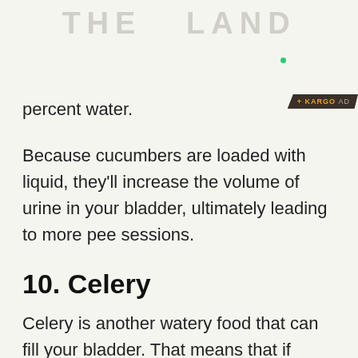THE LAND
percent water.
Because cucumbers are loaded with liquid, they'll increase the volume of urine in your bladder, ultimately leading to more pee sessions.
10. Celery
Celery is another watery food that can fill your bladder. That means that if you're crunching on a slew of celery sticks, you'll likely be compelled to pee more than usual.